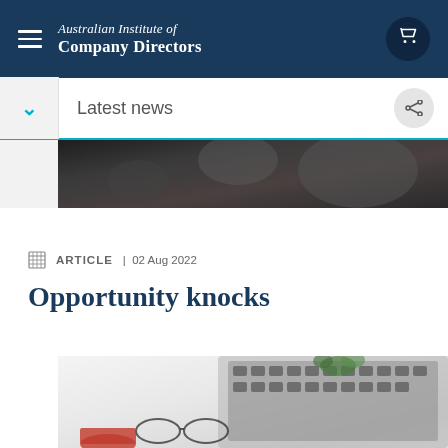Australian Institute of Company Directors
Latest news
[Figure (photo): Dark background photo showing people at an event or meeting]
ARTICLE | 02 Aug 2022
Opportunity knocks
[Figure (photo): Overhead view of a laptop keyboard, glasses, a coffee cup, and a small plant on a white desk]